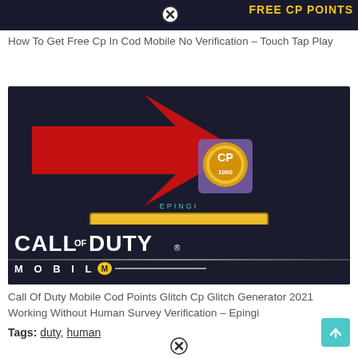[Figure (screenshot): Top portion of a game ad banner showing 'FREE CP POINTS' in yellow text on dark background with a close button (X) circle]
How To Get Free Cp In Cod Mobile No Verification – Touch Tap Play
[Figure (screenshot): Call of Duty Mobile screenshot showing a red arrow pointing to a CP (Cod Points) coin icon with '1000' label on dark blue background, a 'CLAIM REWARDS' yellow button, and the Call of Duty Mobile logo at the bottom]
Call Of Duty Mobile Cod Points Glitch Cp Glitch Generator 2021 Working Without Human Survey Verification – Epingi
Tags: duty, human